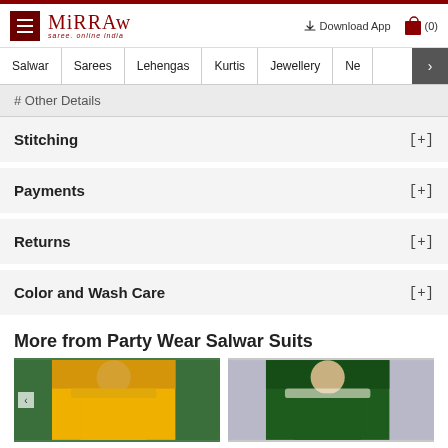Mirraw - saree. online india
# Other Details
Stitching [+]
Payments [+]
Returns [+]
Color and Wash Care [+]
More from Party Wear Salwar Suits
[Figure (photo): Yellow salwar suit on a model with green foliage background]
[Figure (photo): Green embroidered salwar suit on a model with decorative background]